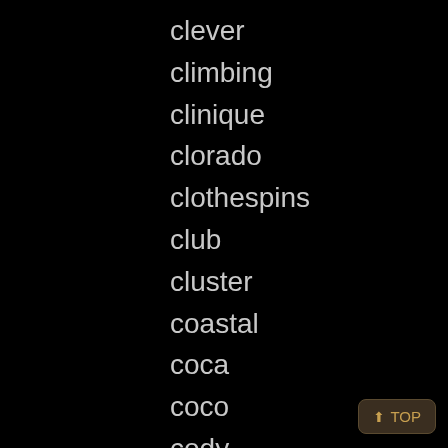clever
climbing
clinique
clorado
clothespins
club
cluster
coastal
coca
coco
cody
collapsible
collectible
collection
collectors
colonial
color